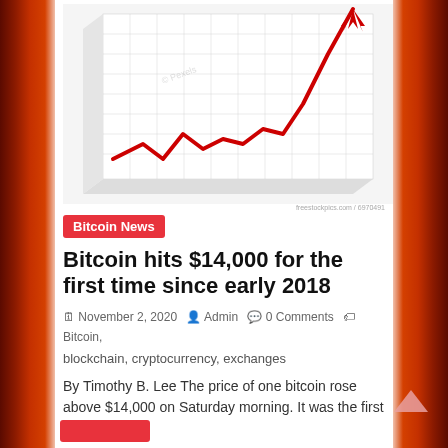[Figure (illustration): 3D line/area chart showing a red zigzag line that rises sharply upward with an arrow, against a grid background. Represents Bitcoin price surge.]
freestockpics.com / 6970491
Bitcoin News
Bitcoin hits $14,000 for the first time since early 2018
November 2, 2020   Admin   0 Comments   Bitcoin, blockchain, cryptocurrency, exchanges
By Timothy B. Lee The price of one bitcoin rose above $14,000 on Saturday morning. It was the first time